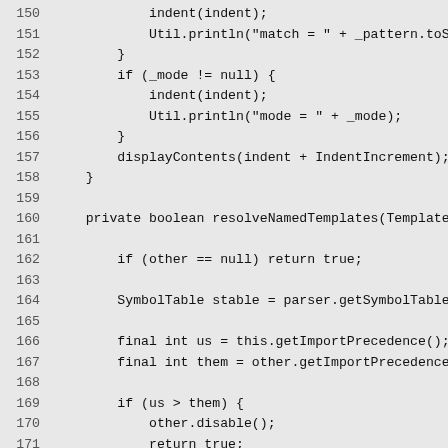Source code listing lines 150-179, Java code showing indent, println, displayContents, resolveNamedTemplates, symbol table, import precedence logic